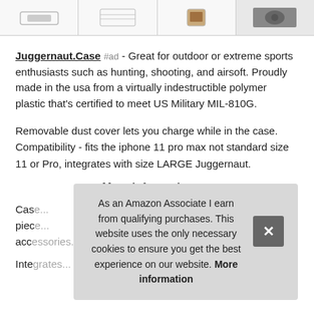[Figure (other): Row of four product thumbnail images at the top of the page]
Juggernaut.Case #ad - Great for outdoor or extreme sports enthusiasts such as hunting, shooting, and airsoft. Proudly made in the usa from a virtually indestructible polymer plastic that's certified to meet US Military MIL-810G.
Removable dust cover lets you charge while in the case. Compatibility - fits the iphone 11 pro max not standard size 11 or Pro, integrates with size LARGE Juggernaut.
More information #ad
Cas... piec... acc...
Inte...
As an Amazon Associate I earn from qualifying purchases. This website uses the only necessary cookies to ensure you get the best experience on our website. More information